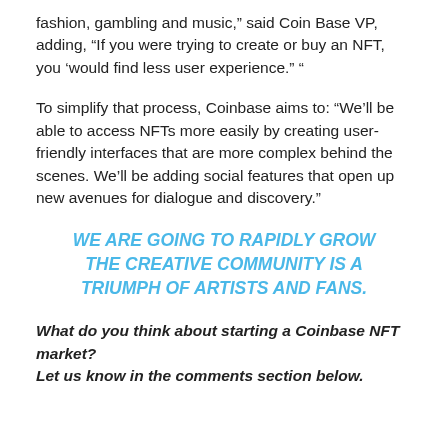fashion, gambling and music," said Coin Base VP, adding, "If you were trying to create or buy an NFT, you ‘would find less user experience." "
To simplify that process, Coinbase aims to: “We’ll be able to access NFTs more easily by creating user-friendly interfaces that are more complex behind the scenes. We’ll be adding social features that open up new avenues for dialogue and discovery.”
WE ARE GOING TO RAPIDLY GROW THE CREATIVE COMMUNITY IS A TRIUMPH OF ARTISTS AND FANS.
What do you think about starting a Coinbase NFT market? Let us know in the comments section below.